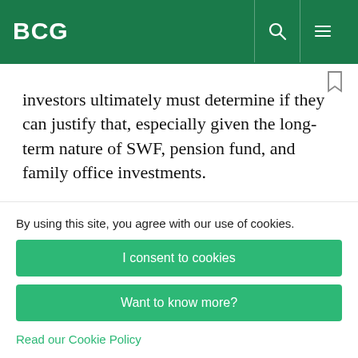BCG
investors ultimately must determine if they can justify that, especially given the long-term nature of SWF, pension fund, and family office investments.
For these reasons and because direct investment remains a relatively new approach for principal
By using this site, you agree with our use of cookies.
I consent to cookies
Want to know more?
Read our Cookie Policy